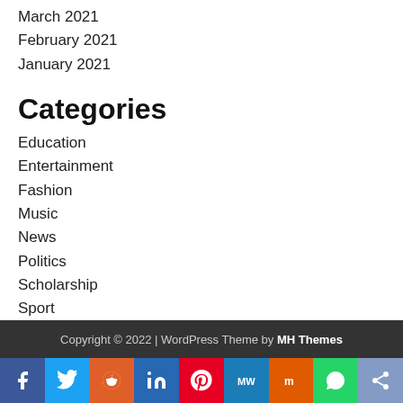March 2021
February 2021
January 2021
Categories
Education
Entertainment
Fashion
Music
News
Politics
Scholarship
Sport
Video
Viewpoint
Copyright © 2022 | WordPress Theme by MH Themes